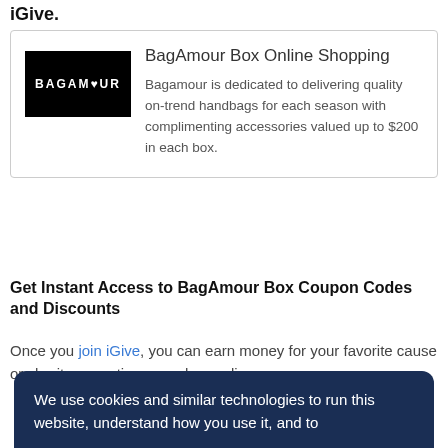iGive.
[Figure (logo): BagAmour black logo with heart icon]
BagAmour Box Online Shopping
Bagamour is dedicated to delivering quality on-trend handbags for each season with complimenting accessories valued up to $200 in each box.
Get Instant Access to BagAmour Box Coupon Codes and Discounts
Once you join iGive, you can earn money for your favorite cause or charity every time you shop online
We use cookies and similar technologies to run this website, understand how you use it, and to